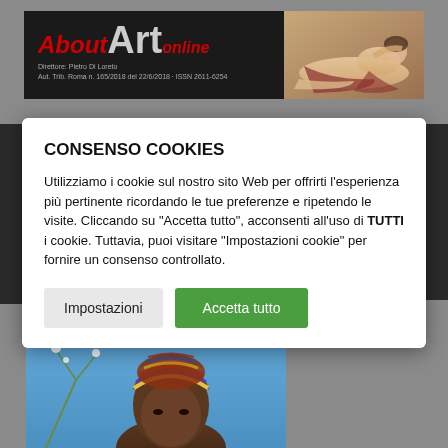[Figure (screenshot): AboutArt Online website banner with dark background, italic red 'About' text, large gray 'Art' text, red italic 'online' text, director name 'Direttore: Pietro Di Loreto', registration info, and a reclining nude figure from classical painting on the right side.]
CONSENSO COOKIES
Utilizziamo i cookie sul nostro sito Web per offrirti l'esperienza più pertinente ricordando le tue preferenze e ripetendo le visite. Cliccando su "Accetta tutto", acconsenti all'uso di TUTTI i cookie. Tuttavia, puoi visitare "Impostazioni cookie" per fornire un consenso controllato.
[Figure (photo): Partial photo at bottom of page showing a person with a colorful head wrap against a blue sky background, with some plant branches visible on the left side.]